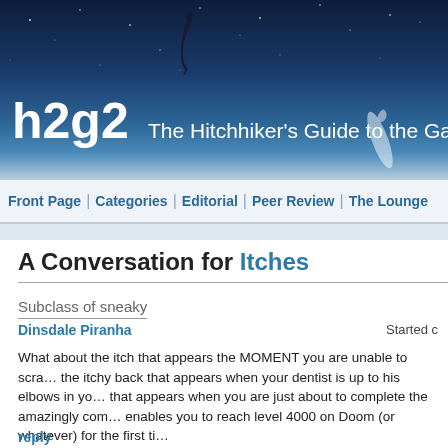[Figure (illustration): h2g2 website banner with dark blue starry sky background, dolphin silhouette, rocket trail, and site title 'h2g2 The Hitchhiker's Guide to the Galaxy: Ear']
Front Page | Categories | Editorial | Peer Review | The Lounge
A Conversation for Itches
Subclass of sneaky
Dinsdale Piranha    Started c…
What about the itch that appears the MOMENT you are unable to scra… the itchy back that appears when your dentist is up to his elbows in yo… that appears when you are just about to complete the amazingly com… enables you to reach level 4000 on Doom (or whatever) for the first ti…
reply